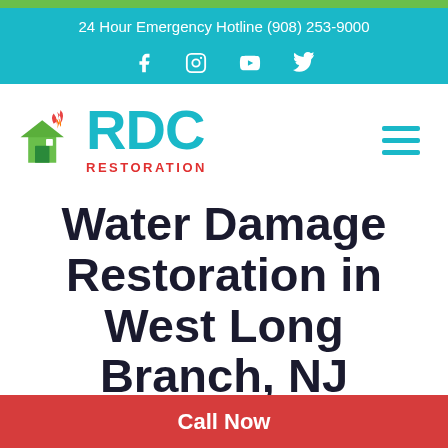24 Hour Emergency Hotline (908) 253-9000
[Figure (logo): RDC Restoration logo with house icon showing fire and water elements, with red/green house graphic and cyan RDC text, RESTORATION text below in red]
Water Damage Restoration in West Long Branch, NJ
Call Now